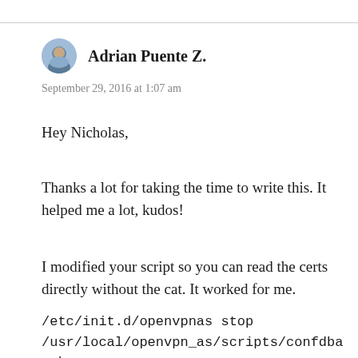Adrian Puente Z.
September 29, 2016 at 1:07 am
Hey Nicholas,
Thanks a lot for taking the time to write this. It helped me a lot, kudos!
I modified your script so you can read the certs directly without the cat. It worked for me.
/etc/init.d/openvpnas stop
/usr/local/openvpn_as/scripts/confdba -mk cs.ca_bundle –
value_file=/etc/letsencrypt/live/DOMAIN.TLD/